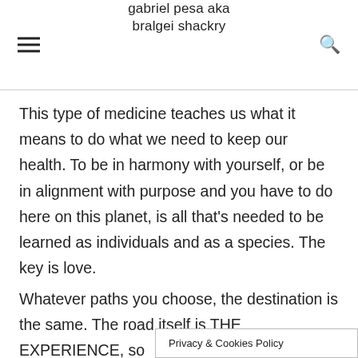gabriel pesa aka bralgei shackry
This type of medicine teaches us what it means to do what we need to keep our health. To be in harmony with yourself, or be in alignment with purpose and you have to do here on this planet, is all that's needed to be learned as individuals and as a species. The key is love.
Whatever paths you choose, the destination is the same. The road itself is THE EXPERIENCE, so
Privacy & Cookies Policy